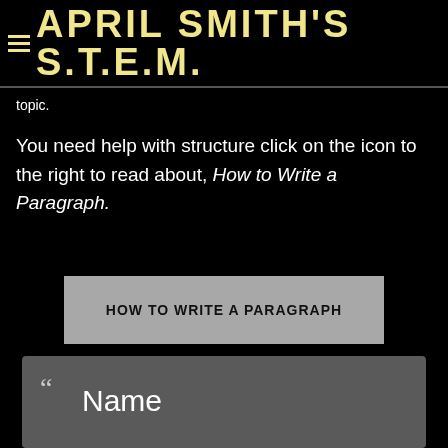APRIL SMITH'S S.T.E.M.
topic.
You need help with structure click on the icon to the right to read about, How to Write a Paragraph.
HOW TO WRITE A PARAGRAPH
“ Name

Homeroom